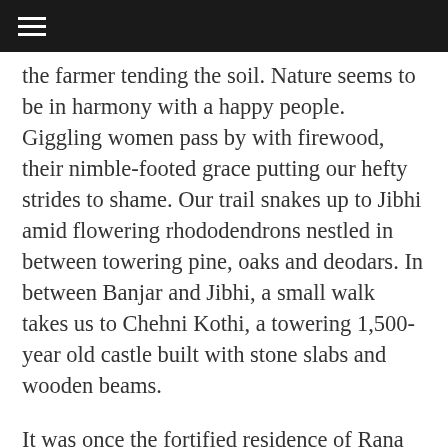≡
the farmer tending the soil. Nature seems to be in harmony with a happy people. Giggling women pass by with firewood, their nimble-footed grace putting our hefty strides to shame. Our trail snakes up to Jibhi amid flowering rhododendrons nestled in between towering pine, oaks and deodars. In between Banjar and Jibhi, a small walk takes us to Chehni Kothi, a towering 1,500-year old castle built with stone slabs and wooden beams.
It was once the fortified residence of Rana Dhadhia, the erstwhile king of Kulu. It used to be 15 storeys high but after the earthquake of 1905 only 10 floors remain. The ground floor has a bigger spread than the upper floors which recede a little with each level to